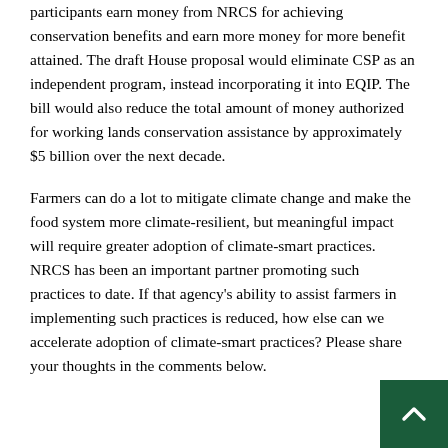participants earn money from NRCS for achieving conservation benefits and earn more money for more benefit attained. The draft House proposal would eliminate CSP as an independent program, instead incorporating it into EQIP. The bill would also reduce the total amount of money authorized for working lands conservation assistance by approximately $5 billion over the next decade.
Farmers can do a lot to mitigate climate change and make the food system more climate-resilient, but meaningful impact will require greater adoption of climate-smart practices. NRCS has been an important partner promoting such practices to date. If that agency's ability to assist farmers in implementing such practices is reduced, how else can we accelerate adoption of climate-smart practices? Please share your thoughts in the comments below.